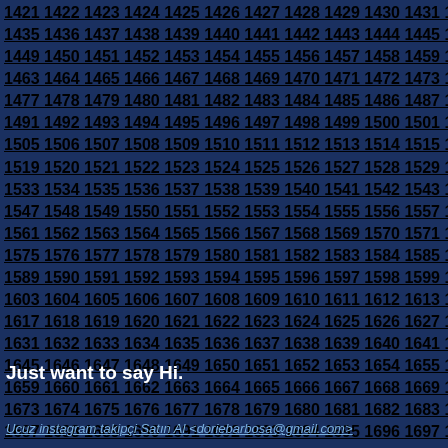1421 1422 1423 1424 1425 1426 1427 1428 1429 1430 1431 1432 1433 1434 1435 1436 1437 1438 1439 1440 1441 1442 1443 1444 1445 1446 1447 1448 1449 1450 1451 1452 1453 1454 1455 1456 1457 1458 1459 1460 1461 1462 1463 1464 1465 1466 1467 1468 1469 1470 1471 1472 1473 1474 1475 1476 1477 1478 1479 1480 1481 1482 1483 1484 1485 1486 1487 1488 1489 1490 1491 1492 1493 1494 1495 1496 1497 1498 1499 1500 1501 1502 1503 1504 1505 1506 1507 1508 1509 1510 1511 1512 1513 1514 1515 1516 1517 1518 1519 1520 1521 1522 1523 1524 1525 1526 1527 1528 1529 1530 1531 1532 1533 1534 1535 1536 1537 1538 1539 1540 1541 1542 1543 1544 1545 1546 1547 1548 1549 1550 1551 1552 1553 1554 1555 1556 1557 1558 1559 1560 1561 1562 1563 1564 1565 1566 1567 1568 1569 1570 1571 1572 1573 1574 1575 1576 1577 1578 1579 1580 1581 1582 1583 1584 1585 1586 1587 1588 1589 1590 1591 1592 1593 1594 1595 1596 1597 1598 1599 1600 1601 1602 1603 1604 1605 1606 1607 1608 1609 1610 1611 1612 1613 1614 1615 1616 1617 1618 1619 1620 1621 1622 1623 1624 1625 1626 1627 1628 1629 1630 1631 1632 1633 1634 1635 1636 1637 1638 1639 1640 1641 1642 1643 1644 1645 1646 1647 1648 1649 1650 1651 1652 1653 1654 1655 1656 1657 1658 1659 1660 1661 1662 1663 1664 1665 1666 1667 1668 1669 1670 1671 1672 1673 1674 1675 1676 1677 1678 1679 1680 1681 1682 1683 1684 1685 1686 1687 1688 1689 1690 1691 1692 1693 1694 1695 1696 1697 1698 1699 1700 1701 1702 1703 1704 1705 1706 1707 1708 1709 1710 1711 1712 1713 1714 1715 1716 1717 1718 1719 1720 1721 1722 1723 1724 1725 1726 1727 1728 1729 1730 1731 1732 1733 1734 1735 1736 1737 1738 1739 1740 1741 1742 1743 1744 1745 1746 1747 1748 1749 1750 1751 1752 1753 1754
Just want to say Hi.
Ucuz instagram takipçi Satın Al <doriebarbosa@gmail.com>